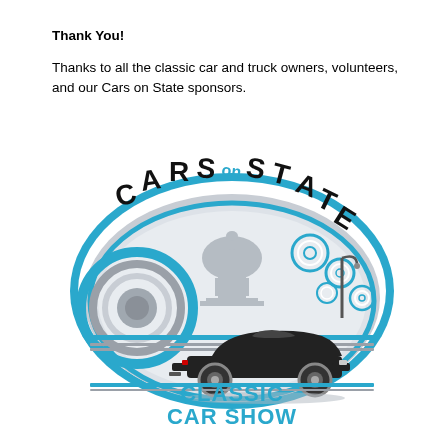Thank You!
Thanks to all the classic car and truck owners, volunteers, and our Cars on State sponsors.
[Figure (logo): Cars on State Classic Car Show logo featuring bold text 'CARS on STATE' arched at top, a capitol building silhouette, decorative circles, a classic convertible car, and 'CLASSIC CAR SHOW' text at bottom in teal/blue and black colors on an oval background.]